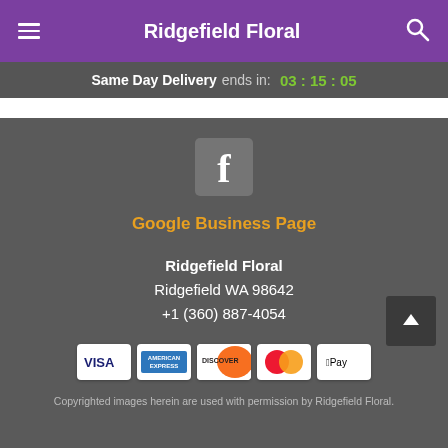Ridgefield Floral
Same Day Delivery ends in: 03 : 15 : 05
[Figure (logo): Facebook logo icon — grey square with white f letter]
Google Business Page
Ridgefield Floral
Ridgefield WA 98642
+1 (360) 887-4054
[Figure (logo): Payment method logos: Visa, American Express, Discover, Mastercard, Apple Pay]
Copyrighted images herein are used with permission by Ridgefield Floral.